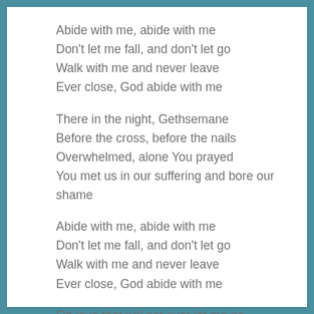Abide with me, abide with me
Don't let me fall, and don't let go
Walk with me and never leave
Ever close, God abide with me
There in the night, Gethsemane
Before the cross, before the nails
Overwhelmed, alone You prayed
You met us in our suffering and bore our shame
Abide with me, abide with me
Don't let me fall, and don't let go
Walk with me and never leave
Ever close, God abide with me
Oh love that will not ever let me go
Love that will not ever let me go